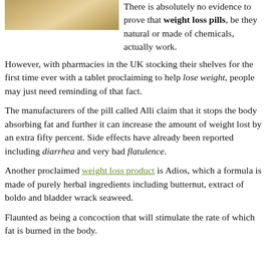[Figure (photo): Partial photo of weight loss pills/tablets visible at top-left corner of the page]
There is absolutely no evidence to prove that weight loss pills, be they natural or made of chemicals, actually work.
However, with pharmacies in the UK stocking their shelves for the first time ever with a tablet proclaiming to help lose weight, people may just need reminding of that fact.
The manufacturers of the pill called Alli claim that it stops the body absorbing fat and further it can increase the amount of weight lost by an extra fifty percent. Side effects have already been reported including diarrhea and very bad flatulence.
Another proclaimed weight loss product is Adios, which a formula is made of purely herbal ingredients including butternut, extract of boldo and bladder wrack seaweed.
Flaunted as being a concoction that will stimulate the rate of which fat is burned in the body.